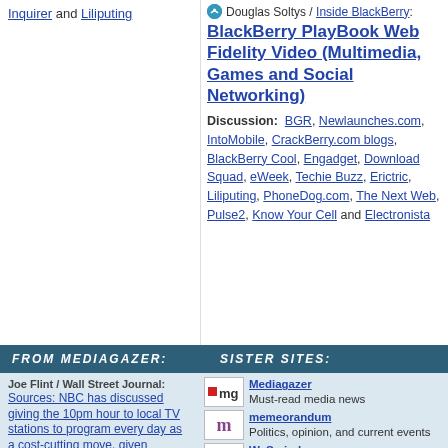Inquirer and Liliputing
Douglas Soltys / Inside BlackBerry: BlackBerry PlayBook Web Fidelity Video (Multimedia, Games and Social Networking)
Discussion: BGR, Newlaunches.com, IntoMobile, CrackBerry.com blogs, BlackBerry Cool, Engadget, Download Squad, eWeek, Techie Buzz, Erictric, Liliputing, PhoneDog.com, The Next Web, Pulse2, Know Your Cell and Electronista
FROM MEDIAGAZER:
SISTER SITES:
Joe Flint / Wall Street Journal: Sources: NBC has discussed giving the 10pm hour to local TV stations to program every day as a cost-cutting move, given broadcast TV's declining popularity
Mediagazer Must-read media news
memeorandum Politics, opinion, and current events
WeSmirch